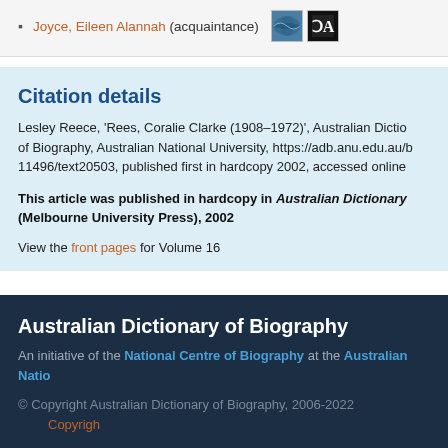Joyce, Eileen Alannah (acquaintance)
Citation details
Lesley Reece, 'Rees, Coralie Clarke (1908–1972)', Australian Dictionary of Biography, Australian National University, https://adb.anu.edu.au/b 11496/text20503, published first in hardcopy 2002, accessed online
This article was published in hardcopy in Australian Dictionary (Melbourne University Press), 2002
View the front pages for Volume 16
Australian Dictionary of Biography
An initiative of the National Centre of Biography at the Australian Natio
© Copyright Australian Dictionary of Biography, 2006-2022  Copyright